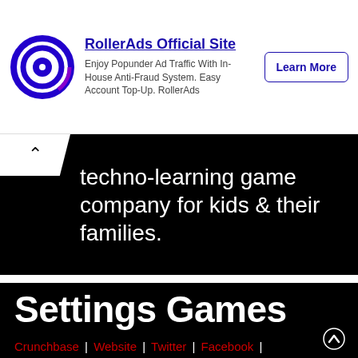[Figure (screenshot): RollerAds advertisement banner with blue concentric circle logo, headline 'RollerAds Official Site', description text, and 'Learn More' button]
techno-learning game company for kids & their families.
Settings Games
Crunchbase | Website | Twitter | Facebook |